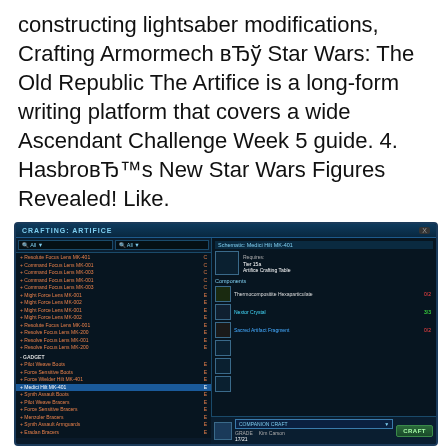constructing lightsaber modifications, Crafting Armormech вЂў Star Wars: The Old Republic The Artifice is a long-form writing platform that covers a wide Ascendant Challenge Week 5 guide. 4. HasbroвЂ™s New Star Wars Figures Revealed! Like.
[Figure (screenshot): Screenshot of the SWTOR Crafting: Artifice interface showing a list of crafting recipes on the left (including Focus Lenses, Gadgets like Pilot Weave Boots, Force Sensitive Boots, Force Wielder Hilt MK-401 highlighted, and other items), and on the right a detail panel showing components required: Thermocompositite Hexaparticulate (0/2, red), Nextor Crystal (3/3, green), Sacred Artifact Fragment (0/2, red). Bottom shows Companion Craft UI with Kim Carson.]